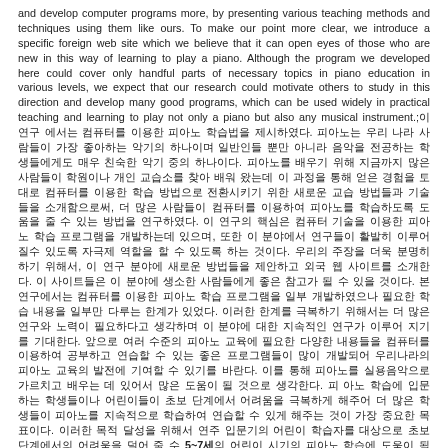and develop computer programs more, by presenting various teaching methods and techniques using them like ours. To make our point more clear, we introduce a specific foreign web site which we believe that it can open eyes of those who are new in this way of learning to play a piano. Although the program we developed here could cover only handful parts of necessary topics in piano education in various levels, we expect that our research could motivate others to study in this direction and develop many good programs, which can be used widely in practical teaching and learning to play not only a piano but also any musical instrument.;이 연구 에서는 컴퓨터를 이용한 피아노 학습법을 제시하였다. 피아노는 우리 나라 사람들이 가장 좋아하는 악기의 하나이며 일반인들 뿐만 아니라 음악을 전공하는 학생들에게도 매우 친숙한 악기 중의 하나이다. 피아노를 배우기 위해 지금까지 많은 사람들이 학원이나 개인 교습소를 찾아 배워 왔는데 이 과정을 통해 얻은 경험을 토대로 컴퓨터를 이용한 학습 방법으로 전환시키기 위한 새로운 교습 방법들과 기술들을 소개함으로써, 더 많은 사람들이 컴퓨터를 이용하여 피아노를 학습하도록 도움을 줄 수 있는 방법을 연구하였다. 이 연구의 핵심은 컴퓨터 기술을 이용한 피아노 학습 프로그램을 개발하는데 있으며, 또한 이 분야에서 연구들이 활발히 이루어 질수 있도록 자극제 역할을 할 수 있도록 하는 것이다. 우리의 주장을 더욱 분명히 하기 위해서, 이 연구 분야에 새로운 방법들을 제안하고 외국 웹 사이트를 소개한다. 이 사이트들은 이 분야에 생소한 사람들에게 좋은 참고가 될 수 있을 것이다. 본 연구에서는 컴퓨터를 이용한 피아노 학습 프로그램을 일부 개발하였으나 필요한 학습 내용을 일부만 다루는 한계가 있었다. 이러한 한계를 극복하기 위해서는 더 많은 연구와 노력이 필요하다고 생각하며 이 분야에 대한 지속적인 연구가 이루어 지기를 기대한다. 앞으로 여러 수준의 피아노 교육에 필요한 다양한 내용들을 컴퓨터를 이용하여 공부하고 연습할 수 있는 좋은 프로그램들이 많이 개발되어 우리나라의 피아노 교육의 발전에 기여할 수 있기를 바란다. 이를 통해 피아노를 실용음악으로 가르치고 배우는 데 있어서 많은 도움이 될 것으로 생각한다. 피 아노 학습에 입문하는 학생들이나 어린이들이 초보 단계에서 어려움을 극복하게 해주어 더 많은 학생들이 피아노를 지속적으로 학습하여 연습할 수 있게 해주는 것이 가장 중요한 목표이다. 이러한 목적 달성을 위해서 연주 입문기의 어린이 학습자를 대상으로 초보 단계에서의 어려움을 덜어 줄 수 5~7세의 어린이 시기의 피아노 학습에 도움이 될 수 있도록 프로그램을 개발하였다. 앞으로 보다 체계적인 피아노 교육에 필요한 다양한 내용들을 컴퓨터 프로그램을 이용하여 교육함으로써 피아노를 처음 배우는 학습자들의 어려움을 줄여주고 흥미를 유발시킬 수 있는 좋은 프로그램들이 많이 개발됨으로써 피아노 교육에 기여를 할 수 있도록 후속 연구가 이루어 지기를 기대한다. 키워드: 피아노, 컴퓨터, 학습, 교육, 악기.